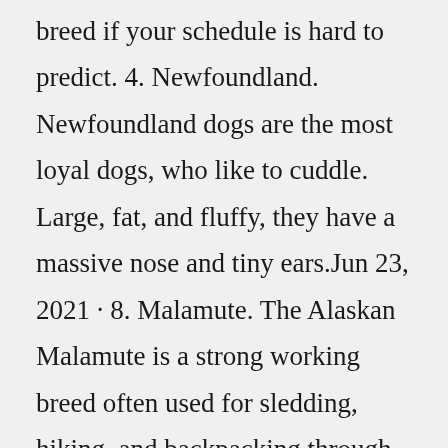breed if your schedule is hard to predict. 4. Newfoundland. Newfoundland dogs are the most loyal dogs, who like to cuddle. Large, fat, and fluffy, they have a massive nose and tiny ears.Jun 23, 2021 · 8. Malamute. The Alaskan Malamute is a strong working breed often used for sledding, hiking, and backpacking through the rough arctic terrain. They are the very definition of a big fluffy dog. Because of their tendency to